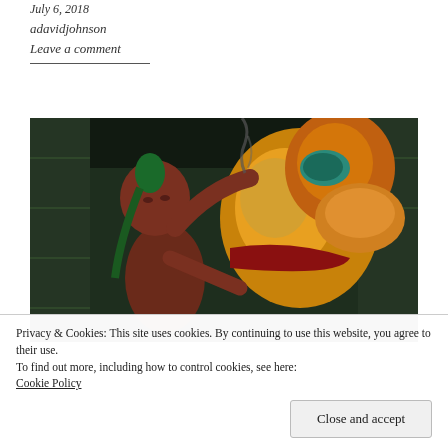July 6, 2018
adavidjohnson
Leave a comment
[Figure (illustration): Digital illustration of a person with green hair smoking a cigarette, reaching up toward a large armored figure in yellow and red power armor (resembling Samus from Metroid), set against a dark sci-fi background.]
Privacy & Cookies: This site uses cookies. By continuing to use this website, you agree to their use.
To find out more, including how to control cookies, see here: Cookie Policy
Close and accept